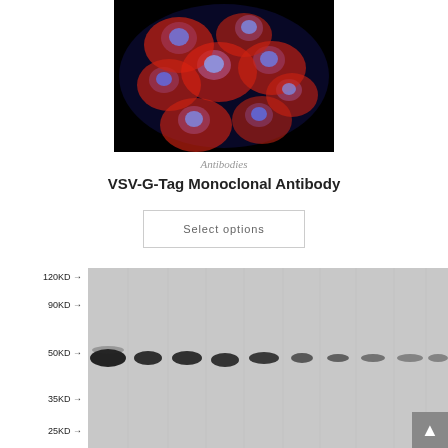[Figure (photo): Fluorescence microscopy image showing cells with red cytoplasmic staining and blue nuclear staining (DAPI) on a black background, demonstrating antibody localization.]
Antibodies
VSV-G-Tag Monoclonal Antibody
Select options
[Figure (photo): Western blot image showing protein bands at approximately 50KD across multiple lanes on a grey background, with molecular weight markers labeled on the left: 120KD, 90KD, 50KD, 35KD, 25KD.]